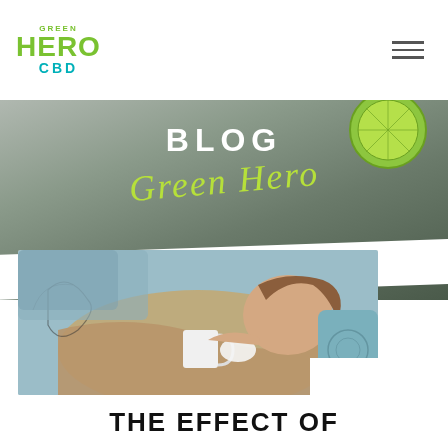GREEN HERO CBD
BLOG
[Figure (photo): Blog banner with lime/mint background and cursive 'Green Hero' script text overlay]
[Figure (photo): Woman lying on sofa wrapped in blanket, holding a mug and tissue, appearing sick]
THE EFFECT OF